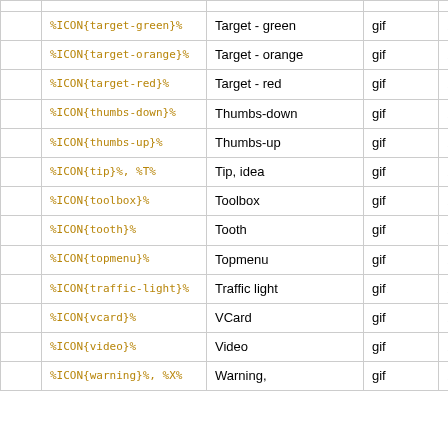|  | Code | Name | Type | Size |
| --- | --- | --- | --- | --- |
|  | %ICON{target-green}% | Target - green | gif | 16x16 |
|  | %ICON{target-orange}% | Target - orange | gif | 16x16 |
|  | %ICON{target-red}% | Target - red | gif | 16x16 |
|  | %ICON{thumbs-down}% | Thumbs-down | gif | 16x16 |
|  | %ICON{thumbs-up}% | Thumbs-up | gif | 16x16 |
|  | %ICON{tip}%, %T% | Tip, idea | gif | 16x16 |
|  | %ICON{toolbox}% | Toolbox | gif | 16x16 |
|  | %ICON{tooth}% | Tooth | gif | 16x16 |
|  | %ICON{topmenu}% | Topmenu | gif | 16x16 |
|  | %ICON{traffic-light}% | Traffic light | gif | 16x16 |
|  | %ICON{vcard}% | VCard | gif | 16x16 |
|  | %ICON{video}% | Video | gif | 13x10 |
|  | %ICON{warning}%, %X% | Warning, | gif | 16x16 |